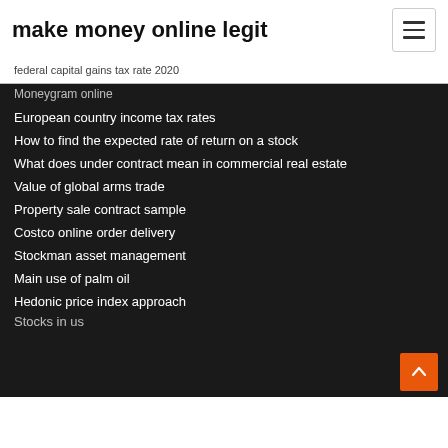make money online legit
federal capital gains tax rate 2020
Moneygram online
European country income tax rates
How to find the expected rate of return on a stock
What does under contract mean in commercial real estate
Value of global arms trade
Property sale contract sample
Costco online order delivery
Stockman asset management
Main use of palm oil
Hedonic price index approach
Stocks in us